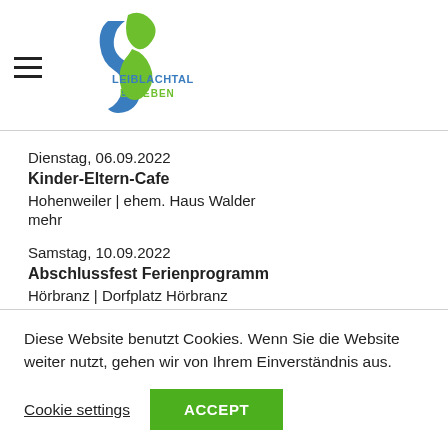[Figure (logo): Leiblachtal Erleben logo with green and blue wave/figure mark and text]
Dienstag, 06.09.2022
Kinder-Eltern-Cafe
Hohenweiler | ehem. Haus Walder
mehr
Samstag, 10.09.2022
Abschlussfest Ferienprogramm
Hörbranz | Dorfplatz Hörbranz
mehr
Samstag, 10.09.2022
Diese Website benutzt Cookies. Wenn Sie die Website weiter nutzt, gehen wir von Ihrem Einverständnis aus.
Cookie settings
ACCEPT